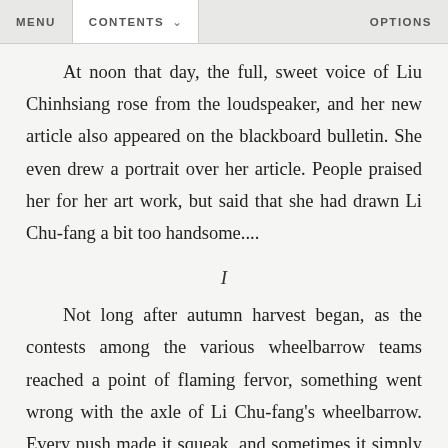MENU   CONTENTS   OPTIONS
At noon that day, the full, sweet voice of Liu Chin-hsiang rose from the loudspeaker, and her new article also appeared on the blackboard bulletin. She even drew a portrait over her article. People praised her for her art work, but said that she had drawn Li Chu-fang a bit too handsome....
I
Not long after autumn harvest began, as the contests among the various wheelbarrow teams reached a point of flaming fervor, something went wrong with the axle of Li Chu-fang's wheelbarrow. Every push made it squeak, and sometimes it simply stopped and would not turn. Sent to